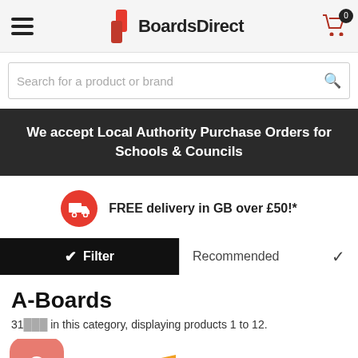BoardsDirect
Search for a product or brand
We accept Local Authority Purchase Orders for Schools & Councils
FREE delivery in GB over £50!*
Filter  Recommended
A-Boards
31 products in this category, displaying products 1 to 12.
[Figure (other): Price promise ribbon banner on product listing]